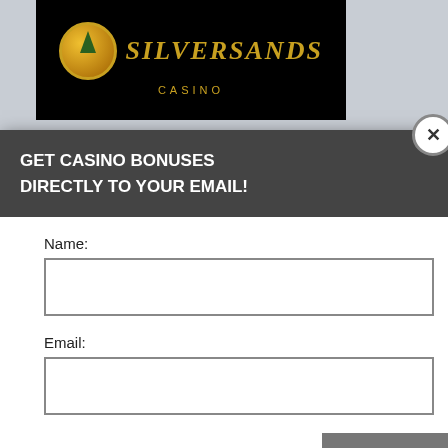[Figure (screenshot): Silver Sands Casino logo on black background]
GIVES $150 FREE
ree Chip to all new players,
and
perience, we use
Using this site,
kie & privacy policy.
GET CASINO BONUSES
DIRECTLY TO YOUR EMAIL!
Name:
Email:
Submit
By subscribing you are certifying that you have reviewed and accepted our updated Privacy and Cookie policy.